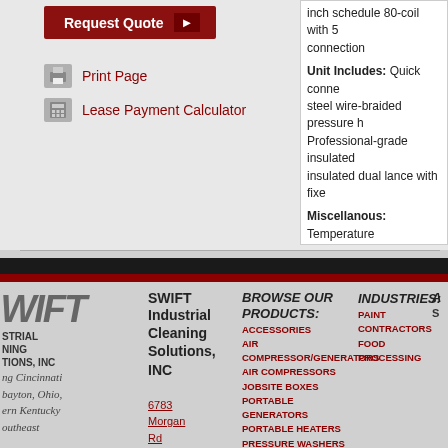Request Quote
Print Page
Lease Payment Calculator
inch schedule 80-coil with 5 connection

Unit Includes: Quick conne steel wire-braided pressure h Professional-grade insulated insulated dual lance with fixe

Miscellanous: Temperature outlet temperature with stea
SWIFT Industrial Cleaning Solutions, INC
Serving Cincinnati Dayton, Ohio, ern Kentucky Southeast
6783 Morgan Rd Cleves

SWIFT Industrial Cleaning Solutions, INC

BROWSE OUR PRODUCTS: ACCESSORIES, AIR COMPRESSOR/GENERATORS, AIR COMPRESSORS, JOBSITE BOXES, PORTABLE GENERATORS, PORTABLE HEATERS, PRESSURE WASHERS, TRAILERS, WATER TREATMENT SYSTEMS

INDUSTRIES: PAINT CONTRACTORS, FOOD PROCESSING